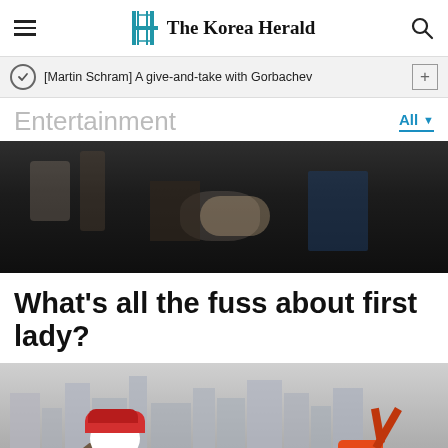The Korea Herald
[Martin Schram] A give-and-take with Gorbachev
Entertainment
[Figure (photo): Close-up photo of hands at a dining table with glassware and bottles in background]
What’s all the fuss about first lady?
[Figure (photo): Outdoor scene with cartoon mascot wearing red cap and construction equipment (excavator) against city skyline background]